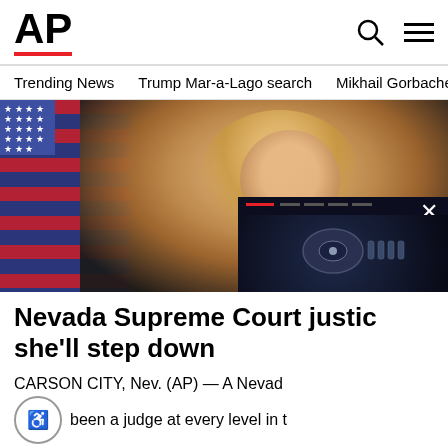AP
Trending News   Trump Mar-a-Lago search   Mikhail Gorbachev d
[Figure (photo): Official portrait photo of a female Nevada Supreme Court justice with blonde hair wearing black judicial robes, seated in front of an American flag and wood-paneled background. A smaller overlay advertisement image shows what appears to be medical/laboratory equipment on a dark background with a close (X) button.]
Nevada Supreme Court justice she'll step down
CARSON CITY, Nev. (AP) — A Nevad been a judge at every level in t
AP  2 days ago